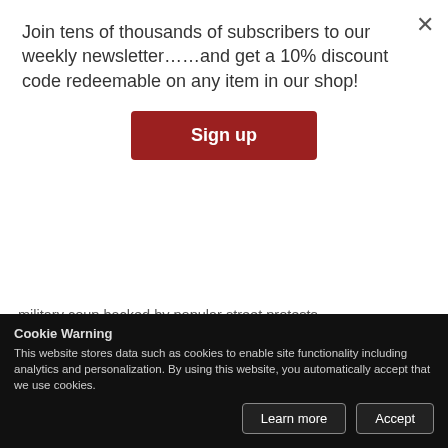Join tens of thousands of subscribers to our weekly newsletter……and get a 10% discount code redeemable on any item in our shop!
Sign up
military coup backed by popular street protests.
Since Sudan was home to the only other Turkish military base in the Horn of Africa, the Red Sea island outpost of Suakin, TURKSOM's importance to Ankara's active foreign policy in the region will only grow.
Russia and the Central African Republic
Cookie Warning
This website stores data such as cookies to enable site functionality including analytics and personalization. By using this website, you automatically accept that we use cookies.
Angola, and Ethiopia to Egypt, Congo, and Mozambique.